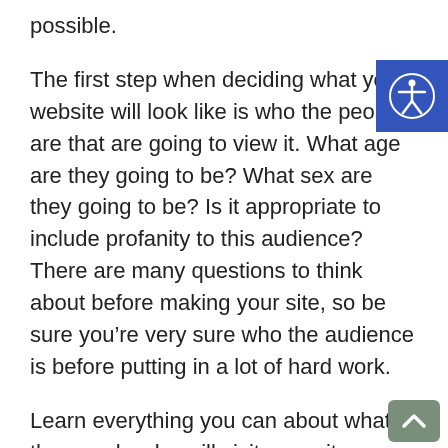possible.
The first step when deciding what your website will look like is who the people are that are going to view it. What age are they going to be? What sex are they going to be? Is it appropriate to include profanity to this audience? There are many questions to think about before making your site, so be sure you’re very sure who the audience is before putting in a lot of hard work.
Learn everything you can about what the people who will visit your site are like by going to other sites that are similar to what you’re making. Your niche probably has a few set rules that go along with it, like what you need to do to reach out to that market. Find out what they like to do when they go to a website. Will you need to provide videos? Will games be fun for them? Look into any demographic information you can collect and start